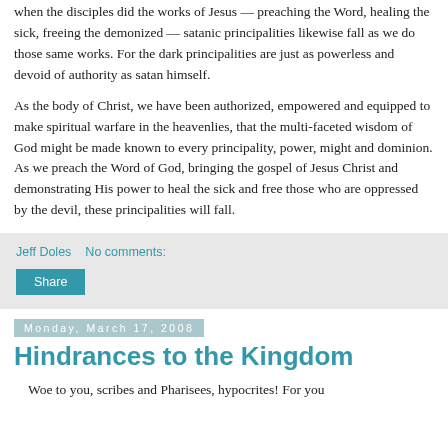when the disciples did the works of Jesus — preaching the Word, healing the sick, freeing the demonized — satanic principalities likewise fall as we do those same works. For the dark principalities are just as powerless and devoid of authority as satan himself.
As the body of Christ, we have been authorized, empowered and equipped to make spiritual warfare in the heavenlies, that the multi-faceted wisdom of God might be made known to every principality, power, might and dominion. As we preach the Word of God, bringing the gospel of Jesus Christ and demonstrating His power to heal the sick and free those who are oppressed by the devil, these principalities will fall.
Jeff Doles    No comments:
Share
Monday, March 17, 2008
Hindrances to the Kingdom
Woe to you, scribes and Pharisees, hypocrites! For you